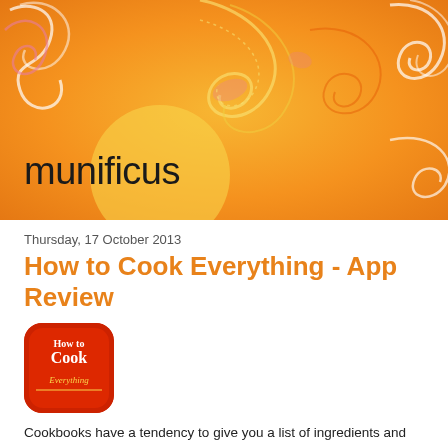[Figure (illustration): Orange decorative header banner with swirl patterns in yellow, pink, and white on an orange/amber gradient background]
munificus
Thursday, 17 October 2013
How to Cook Everything - App Review
[Figure (logo): How to Cook Everything app icon — red rounded square with white text reading 'How to Cook Everything' in stylized font]
Cookbooks have a tendency to give you a list of ingredients and approximate instructions... the intention being for the uninitiated to recreate the professionally photographed dish (good luck).
This App is surprising in its completeness, as well as some excellent detail, and